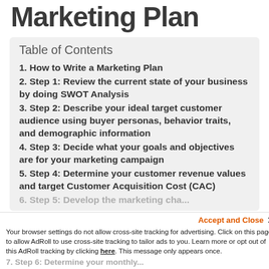Marketing Plan
Table of Contents
1. How to Write a Marketing Plan
2. Step 1: Review the current state of your business by doing SWOT Analysis
3. Step 2: Describe your ideal target customer audience using buyer personas, behavior traits, and demographic information
4. Step 3: Decide what your goals and objectives are for your marketing campaign
5. Step 4: Determine your customer revenue values and target Customer Acquisition Cost (CAC)
6. Step 5: Develop the marketing cha...
7. Step 6: Determine your monthly...
Accept and Close ×
Your browser settings do not allow cross-site tracking for advertising. Click on this page to allow AdRoll to use cross-site tracking to tailor ads to you. Learn more or opt out of this AdRoll tracking by clicking here. This message only appears once.